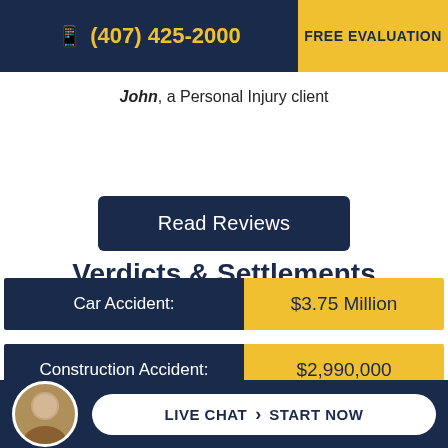(407) 425-2000   FREE EVALUATION
John, a Personal Injury client
Read Reviews
Verdicts & Settlements
| Case Type | Amount |
| --- | --- |
| Car Accident: | $3.75 Million |
| Construction Accident: | $2,990,000 |
LIVE CHAT  START NOW